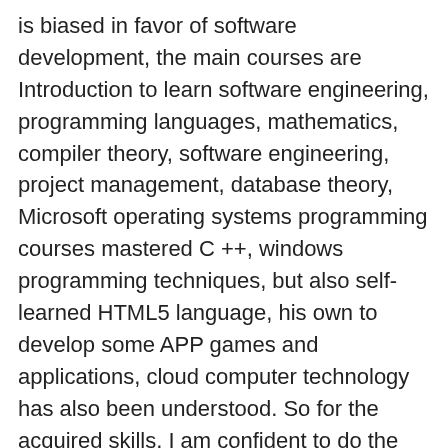is biased in favor of software development, the main courses are Introduction to learn software engineering, programming languages, mathematics, compiler theory, software engineering, project management, database theory, Microsoft operating systems programming courses mastered C ++, windows programming techniques, but also self-learned HTML5 language, his own to develop some APP games and applications, cloud computer technology has also been understood. So for the acquired skills, I am confident to do the job.
As for my personality, I am a person otaku things, basically one day 14 hours at the computer, it is a normal thing. The rest of the time sleeping and eating